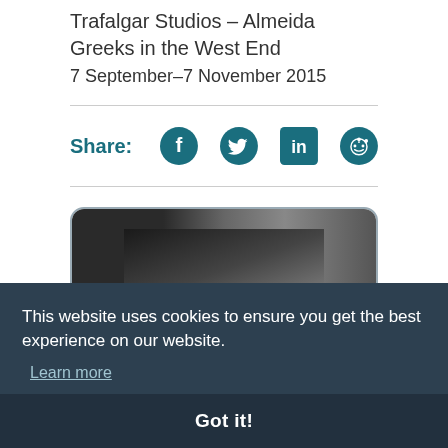Trafalgar Studios – Almeida Greeks in the West End
7 September–7 November 2015
[Figure (infographic): Share bar with Facebook, Twitter, LinkedIn, and Reddit icons]
[Figure (photo): Partial view of a photo carousel showing a dark theatrical image inside a rounded card, with left and right navigation arrows]
This website uses cookies to ensure you get the best experience on our website.
Learn more
Got it!